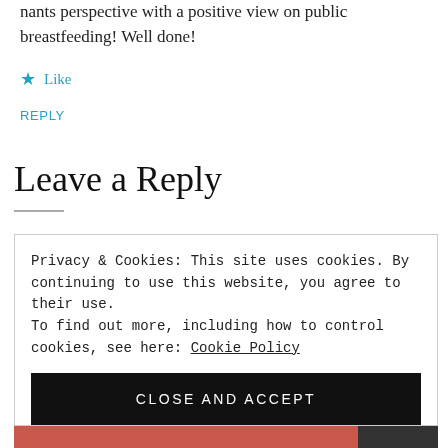nants perspective with a positive view on public breastfeeding! Well done!
★ Like
REPLY
Leave a Reply
Privacy & Cookies: This site uses cookies. By continuing to use this website, you agree to their use. To find out more, including how to control cookies, see here: Cookie Policy
CLOSE AND ACCEPT